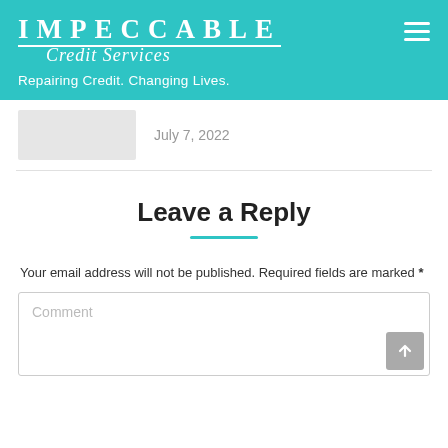IMPECCABLE Credit Services — Repairing Credit. Changing Lives.
July 7, 2022
Leave a Reply
Your email address will not be published. Required fields are marked *
Comment